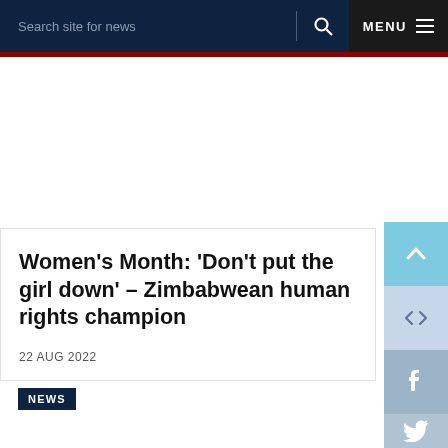Search site for news | MENU
Women’s Month: ‘Don’t put the girl down’ – Zimbabwean human rights champion
22 AUG 2022
NEWS